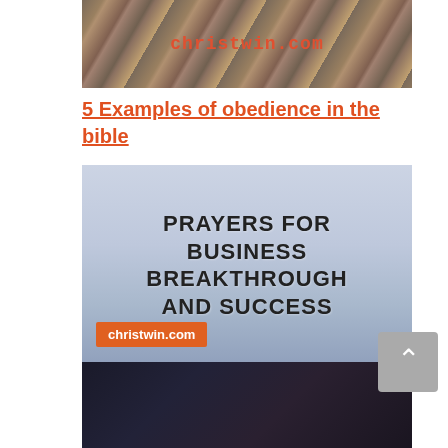[Figure (photo): Rocky mountain landscape with christwin.com text overlay in red/orange]
5 Examples of obedience in the bible
[Figure (photo): Cloudy sky background with bold text 'PRAYERS FOR BUSINESS BREAKTHROUGH AND SUCCESS' and christwin.com orange badge]
52 warfare Prayer for business breakthrough and success
[Figure (photo): Dark dramatic scene, partially visible at bottom of page]